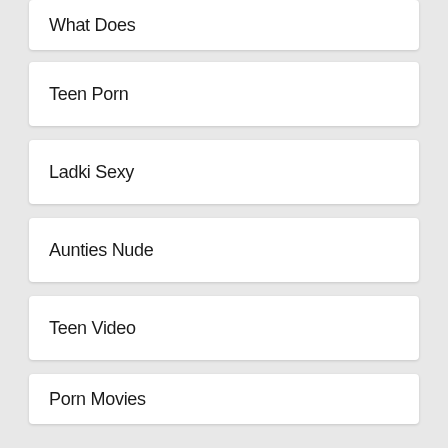What Does
Teen Porn
Ladki Sexy
Aunties Nude
Teen Video
Porn Movies
Teen Beach
Very Sexy